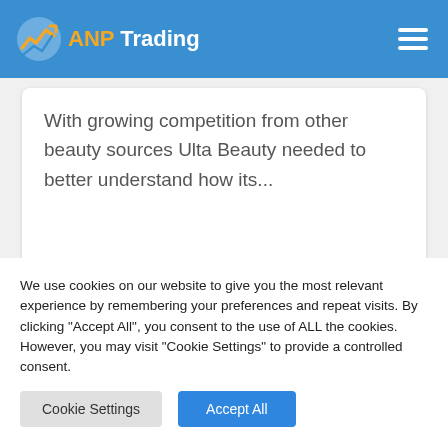ANP Trading
With growing competition from other beauty sources Ulta Beauty needed to better understand how its...
[Figure (other): Blue horizontal button/strip element]
We use cookies on our website to give you the most relevant experience by remembering your preferences and repeat visits. By clicking "Accept All", you consent to the use of ALL the cookies. However, you may visit "Cookie Settings" to provide a controlled consent.
Cookie Settings | Accept All